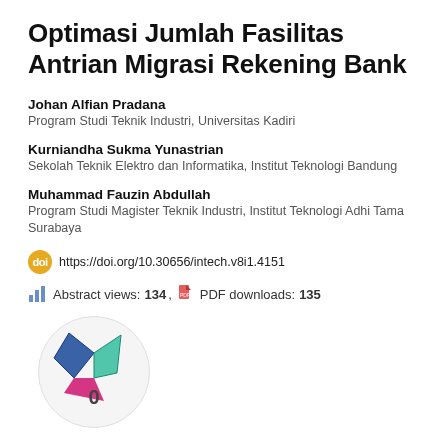Optimasi Jumlah Fasilitas Antrian Migrasi Rekening Bank
Johan Alfian Pradana
Program Studi Teknik Industri, Universitas Kadiri
Kurniandha Sukma Yunastrian
Sekolah Teknik Elektro dan Informatika, Institut Teknologi Bandung
Muhammad Fauzin Abdullah
Program Studi Magister Teknik Industri, Institut Teknologi Adhi Tama Surabaya
https://doi.org/10.30656/intech.v8i1.4151
Abstract views: 134 , PDF downloads: 135
[Figure (other): Altmetric or citation badge showing a colorful geometric shape (blue, magenta, green triangular/polygon design) with number 0 below it, inside a light gray circle]